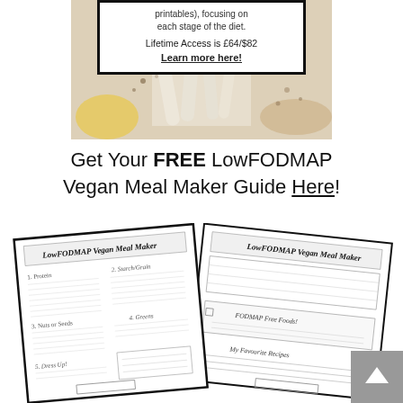[Figure (photo): Photo of food ingredients (nuts, seeds, spices on white surface) with a white text box overlay showing promotional text about a diet program. Text box reads: 'printables), focusing on each stage of the diet. Lifetime Access is £64/$82 Learn more here!']
Get Your FREE LowFODMAP Vegan Meal Maker Guide Here!
[Figure (photo): Two overlapping printed pages of a 'LowFODMAP Vegan Meal Maker' guide/worksheet showing sections for Protein, Starch/Grain, Greens, Nuts or Seeds, Dress Up, FODMAP Free Foods, and My Favourite Recipes with blank lines for filling in.]